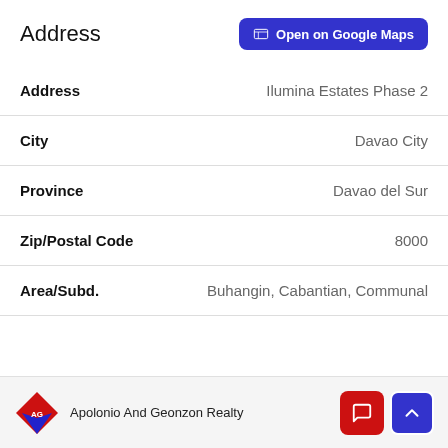Address
| Field | Value |
| --- | --- |
| Address | Ilumina Estates Phase 2 |
| City | Davao City |
| Province | Davao del Sur |
| Zip/Postal Code | 8000 |
| Area/Subd. | Buhangin, Cabantian, Communal |
Apolonio And Geonzon Realty